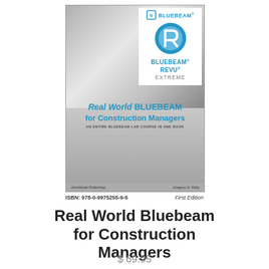[Figure (illustration): Book cover of 'Real World Bluebeam for Construction Managers' by Gregory D. Kelly, published by JohnWyatt Publishing. Features Bluebeam Revu Extreme logo with blue circular R icon on white background, gradient gray cover, blue title text. ISBN: 978-0-9975255-9-5, First Edition.]
ISBN: 978-0-9975255-9-5
First Edition
Real World Bluebeam for Construction Managers
$ 69.95